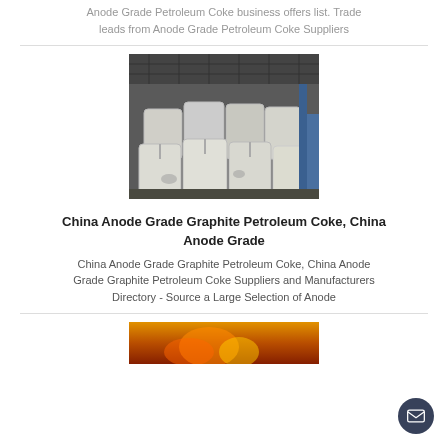Anode Grade Petroleum Coke business offers list. Trade leads from Anode Grade Petroleum Coke Suppliers
[Figure (photo): Large white industrial bulk bags stacked in a warehouse, containing petroleum coke product]
China Anode Grade Graphite Petroleum Coke, China Anode Grade
China Anode Grade Graphite Petroleum Coke, China Anode Grade Graphite Petroleum Coke Suppliers and Manufacturers Directory - Source a Large Selection of Anode
[Figure (photo): Partially visible image at bottom of page, appears to show industrial/fire imagery with orange/yellow tones]